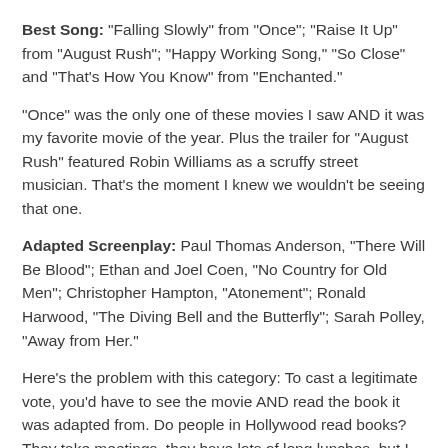Best Song: "Falling Slowly" from "Once"; "Raise It Up" from "August Rush"; "Happy Working Song," "So Close" and "That's How You Know" from "Enchanted."
"Once" was the only one of these movies I saw AND it was my favorite movie of the year. Plus the trailer for "August Rush" featured Robin Williams as a scruffy street musician. That's the moment I knew we wouldn't be seeing that one.
Adapted Screenplay: Paul Thomas Anderson, "There Will Be Blood"; Ethan and Joel Coen, "No Country for Old Men"; Christopher Hampton, "Atonement"; Ronald Harwood, "The Diving Bell and the Butterfly"; Sarah Polley, "Away from Her."
Here's the problem with this category: To cast a legitimate vote, you'd have to see the movie AND read the book it was adapted from. Do people in Hollywood read books? They take meetings, they have lots of long lunches, but I don't think they actually read books. So I always pick the book that I figure most of them have at least heard of. Most of them have probably heard of Cormac McCarthy. So "No Country For Old Men" is the pick...